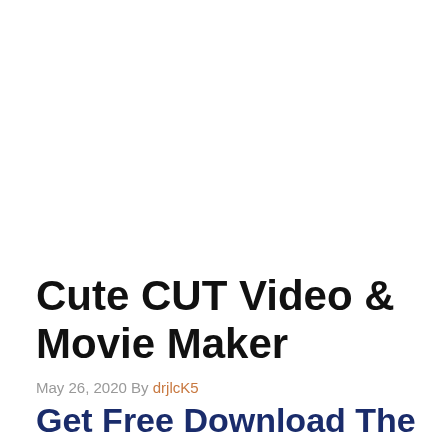Cute CUT Video & Movie Maker
May 26, 2020 By drjlcK5
Get Free Download The Latest